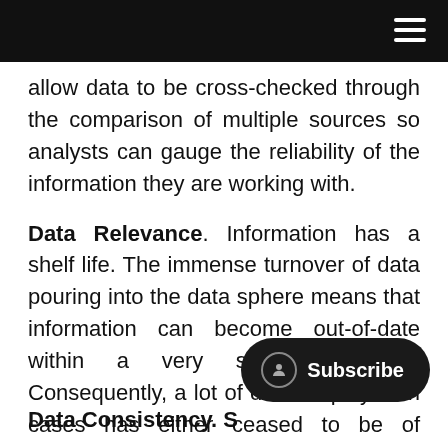[navigation bar with hamburger menu]
allow data to be cross-checked through the comparison of multiple sources so analysts can gauge the reliability of the information they are working with.
Data Relevance. Information has a shelf life. The immense turnover of data pouring into the data sphere means that information can become out-of-date within a very short time-span. Consequently, a lot of data employed in cases has either ceased to be of relevance, or is actually erroneous. Modern open-source intelligence tools can collect and analyze information in real time, allowing subjects to be monitored and investigators kept entirely up-to-date. The investigative decision-making is consequently based on current, valid and relevant data, driving cases forward more effectively.
Data Consistency. [partial/cut off]